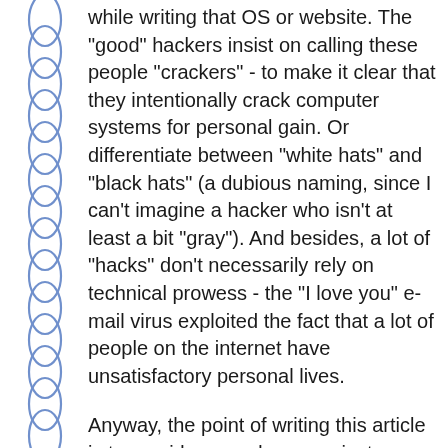while writing that OS or website. The "good" hackers insist on calling these people "crackers" - to make it clear that they intentionally crack computer systems for personal gain. Or differentiate between "white hats" and "black hats" (a dubious naming, since I can't imagine a hacker who isn't at least a bit "gray"). And besides, a lot of "hacks" don't necessarily rely on technical prowess - the "I love you" e-mail virus exploited the fact that a lot of people on the internet have unsatisfactory personal lives.
Anyway, the point of writing this article is to provide a good, non-mainstream example of how a hacker thinks, reasons, and works. Holywood is particularly bad at depicting hackers, and you'd see movie after movie, with the big fat budgets they have, but they never come close to a realistic hacking scene. I think the best hacker statement that That best...